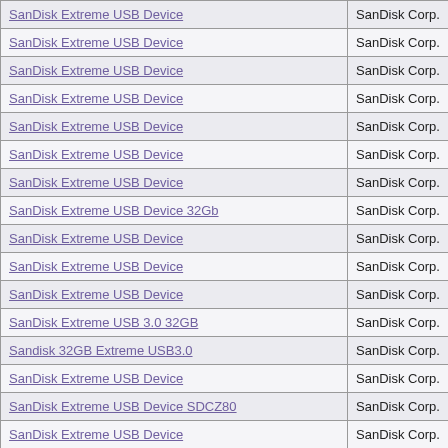| Device Name | Vendor |
| --- | --- |
| SanDisk Extreme USB Device | SanDisk Corp. |
| SanDisk Extreme USB Device | SanDisk Corp. |
| SanDisk Extreme USB Device | SanDisk Corp. |
| SanDisk Extreme USB Device | SanDisk Corp. |
| SanDisk Extreme USB Device | SanDisk Corp. |
| SanDisk Extreme USB Device | SanDisk Corp. |
| SanDisk Extreme USB Device | SanDisk Corp. |
| SanDisk Extreme USB Device | SanDisk Corp. |
| SanDisk Extreme USB Device 32Gb | SanDisk Corp. |
| SanDisk Extreme USB Device | SanDisk Corp. |
| SanDisk Extreme USB Device | SanDisk Corp. |
| SanDisk Extreme USB Device | SanDisk Corp. |
| SanDisk Extreme USB 3.0 32GB | SanDisk Corp. |
| Sandisk 32GB Extreme USB3.0 | SanDisk Corp. |
| SanDisk Extreme USB Device | SanDisk Corp. |
| SanDisk Extreme USB Device SDCZ80 | SanDisk Corp. |
| SanDisk Extreme USB Device | SanDisk Corp. |